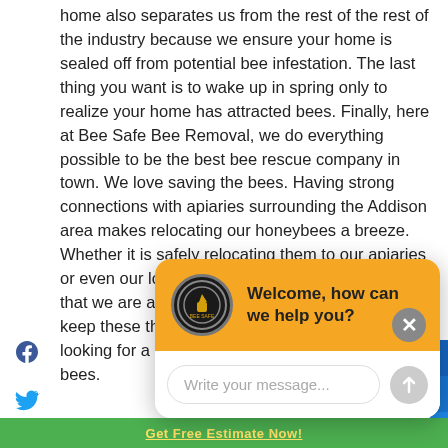home also separates us from the rest of the rest of the industry because we ensure your home is sealed off from potential bee infestation. The last thing you want is to wake up in spring only to realize your home has attracted bees. Finally, here at Bee Safe Bee Removal, we do everything possible to be the best bee rescue company in town. We love saving the bees. Having strong connections with apiaries surrounding the Addison area makes relocating our honeybees a breeze. Whether it is safely relocating them to our apiaries or even our local beekeepers, rest easy knowing that we are all about saving bees everywhere. So, keep these things in mind the next time you are looking for a business to help you remove your bees.
[Figure (screenshot): Chat widget with golden/yellow header showing a bee removal company logo and 'Welcome, how can we help you?' message, with a text input field below saying 'Write your message...']